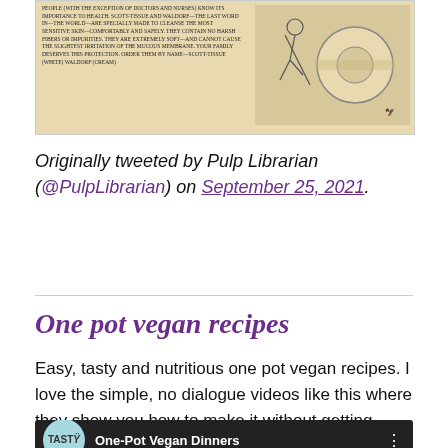[Figure (illustration): Old vintage advertisement for Scott Tissue and Waldorf toilet paper, featuring small illustrated figures and dense promotional text on a cream/sepia background.]
Originally tweeted by Pulp Librarian (@PulpLibrarian) on September 25, 2021.
One pot vegan recipes
Easy, tasty and nutritious one pot vegan recipes. I love the simple, no dialogue videos like this where they show you how to make it without getting bogged down in the specifics and boring detail.
[Figure (screenshot): Thumbnail for a Tasty video titled One-Pot Vegan Dinners with a circular Tasty logo on the left and food imagery on the right.]